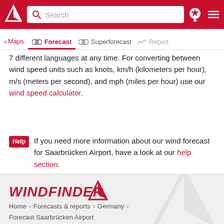Windfinder header with search bar, location icon, and menu icon
Navigation: Maps | Forecast (active) | Superforecast | Report
7 different languages at any time. For converting between wind speed units such as knots, km/h (kilometers per hour), m/s (meters per second), and mph (miles per hour) use our wind speed calculator.
Help  If you need more information about our wind forecast for Saarbrücken Airport, have a look at our help section.
[Figure (logo): Windfinder logo — red italic WINDFINDER text with red triangular arrow logo]
Home > Forecasts & reports > Germany > Forecast Saarbrücken Airport